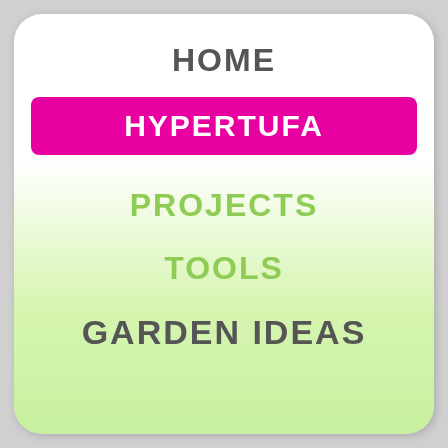HOME
HYPERTUFA
PROJECTS
TOOLS
GARDEN IDEAS